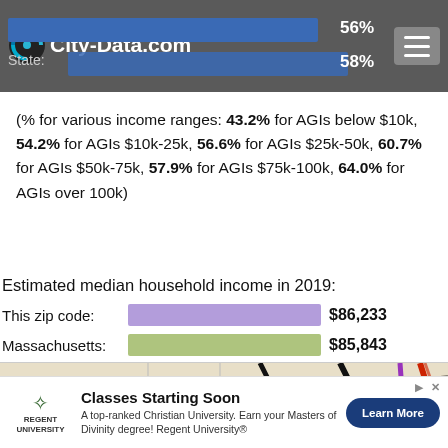City-Data.com | This zip code: 56% | State: 58%
(% for various income ranges: 43.2% for AGIs below $10k, 54.2% for AGIs $10k-25k, 56.6% for AGIs $25k-50k, 60.7% for AGIs $50k-75k, 57.9% for AGIs $75k-100k, 64.0% for AGIs over 100k)
Estimated median household income in 2019:
This zip code: $86,233
Massachusetts: $85,843
[Figure (map): Road map showing local area with highways in black, red, and purple lines on a tan/beige background]
[Figure (other): Advertisement: Classes Starting Soon - Regent University. A top-ranked Christian University. Earn your Masters of Divinity degree! Regent University®. Learn More button.]